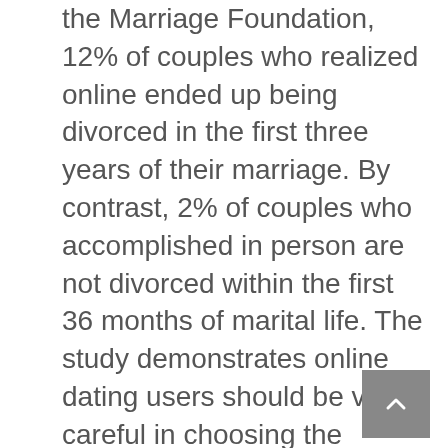the Marriage Foundation, 12% of couples who realized online ended up being divorced in the first three years of their marriage. By contrast, 2% of couples who accomplished in person are not divorced within the first 36 months of marital life. The study demonstrates online dating users should be very careful in choosing the person to get married to.

Although some psychologists don't agree on this concern, many consent